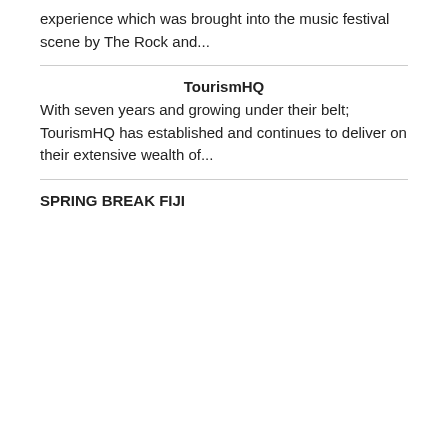experience which was brought into the music festival scene by The Rock and...
TourismHQ
With seven years and growing under their belt; TourismHQ has established and continues to deliver on their extensive wealth of...
SPRING BREAK FIJI